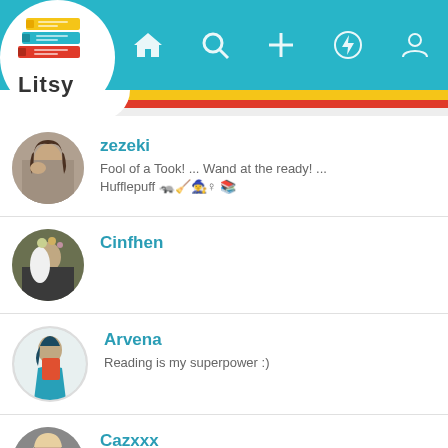[Figure (screenshot): Litsy app header with teal navigation bar showing home, search, add, activity, and profile icons, with Litsy logo (stacked books icon) in white circle at top left]
zezeki
Fool of a Took! ... Wand at the ready! ...
Hufflepuff 🦡 🧹🧙‍♀️♀ 📚
Cinfhen
Arvena
Reading is my superpower :)
Cazxxx
🔮 Witch 🌙✨/Crystal lover 💎/Plant lover 🌿/Bookworm 📚/True crime 🔍/Metal 🎸/Crafts ✂/Spiritual 🌙✨/Lover of all things dark 🖤/nature 🌲
ChaoticMissAdventures